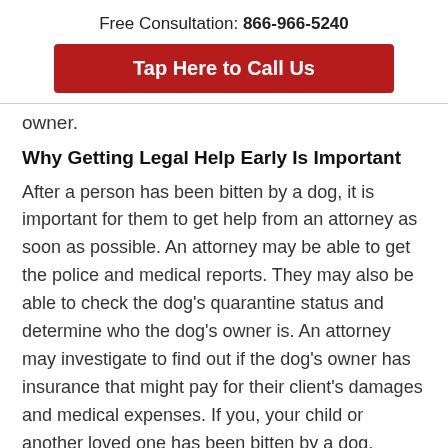Free Consultation: 866-966-5240
Tap Here to Call Us
owner.
Why Getting Legal Help Early Is Important
After a person has been bitten by a dog, it is important for them to get help from an attorney as soon as possible. An attorney may be able to get the police and medical reports. They may also be able to check the dog's quarantine status and determine who the dog's owner is. An attorney may investigate to find out if the dog's owner has insurance that might pay for their client's damages and medical expenses. If you, your child or another loved one has been bitten by a dog, contact a personal injury lawyer today.